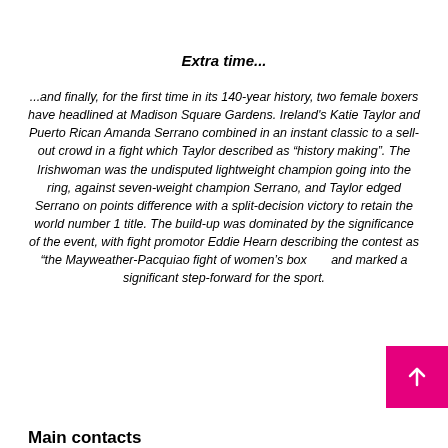Extra time...
...and finally, for the first time in its 140-year history, two female boxers have headlined at Madison Square Gardens. Ireland's Katie Taylor and Puerto Rican Amanda Serrano combined in an instant classic to a sell-out crowd in a fight which Taylor described as “history making”. The Irishwoman was the undisputed lightweight champion going into the ring, against seven-weight champion Serrano, and Taylor edged Serrano on points difference with a split-decision victory to retain the world number 1 title. The build-up was dominated by the significance of the event, with fight promotor Eddie Hearn describing the contest as “the Mayweather-Pacquiao fight of women’s boxing” and marked a significant step-forward for the sport.
Main contacts